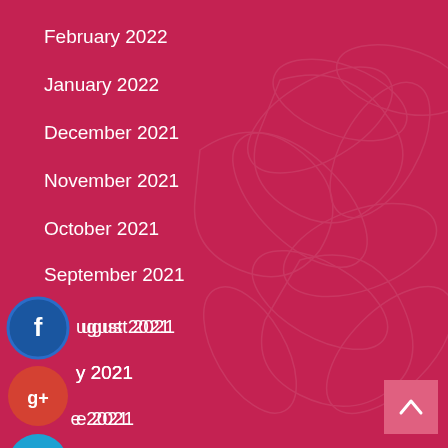February 2022
January 2022
December 2021
November 2021
October 2021
September 2021
August 2021
July 2021
June 2021
May 2021
April 2021
[Figure (illustration): Social media share buttons: Facebook (blue circle with f), Google+ (orange-red circle with g+), Twitter (blue circle with bird), and a dark blue plus circle, overlapping the list items on the left side]
[Figure (illustration): Scroll-to-top button: a pink/rose square with an upward chevron arrow in the bottom-right corner]